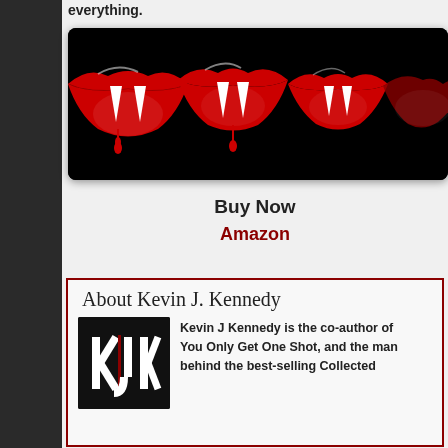everything.
[Figure (illustration): Banner image with multiple red vampire lips/mouths with fangs and dripping blood on a black background.]
Buy Now
Amazon
About Kevin J. Kennedy
[Figure (logo): Kevin J. Kennedy author logo: stylized KJK letters in white/red on black background.]
Kevin J Kennedy is the co-author of You Only Get One Shot, and the man behind the best-selling Collected